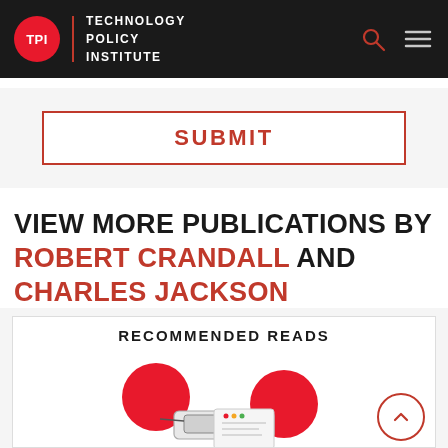TPI | TECHNOLOGY POLICY INSTITUTE
SUBMIT
VIEW MORE PUBLICATIONS BY ROBERT CRANDALL AND CHARLES JACKSON
RECOMMENDED READS
[Figure (illustration): Illustration of pills, capsules and reading glasses on a white surface]